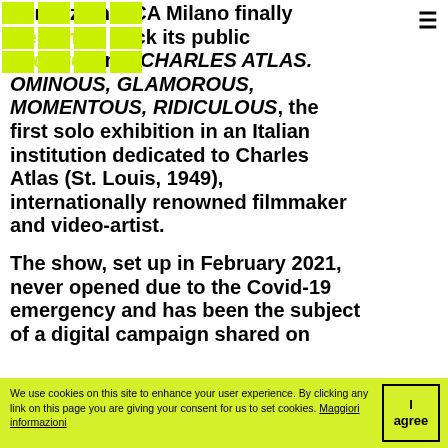[Figure (logo): Fondazione ICA Milano logo — yellow/lime green grid of rectangles]
Fondazione ICA Milano finally welcomes back its public and presents CHARLES ATLAS. OMINOUS, GLAMOROUS, MOMENTOUS, RIDICULOUS, the first solo exhibition in an Italian institution dedicated to Charles Atlas (St. Louis, 1949), internationally renowned filmmaker and video-artist.
The show, set up in February 2021, never opened due to the Covid-19 emergency and has been the subject of a digital campaign shared on
We use cookies on this site to enhance your user experience. By clicking any link on this page you are giving your consent for us to set cookies. Maggiori informazioni